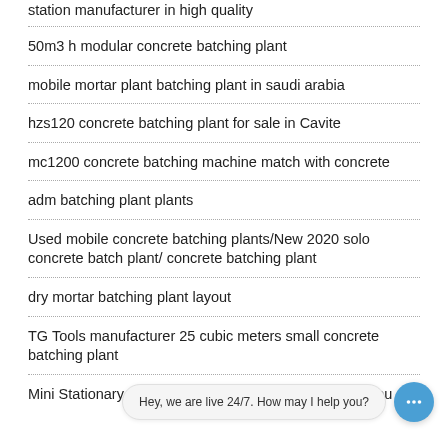station manufacturer in high quality
50m3 h modular concrete batching plant
mobile mortar plant batching plant in saudi arabia
hzs120 concrete batching plant for sale in Cavite
mc1200 concrete batching machine match with concrete
adm batching plant plants
Used mobile concrete batching plants/New 2020 solo concrete batch plant/ concrete batching plant
dry mortar batching plant layout
TG Tools manufacturer 25 cubic meters small concrete batching plant
Mini Stationary Concrete Batching Plant for Sale in Cebu